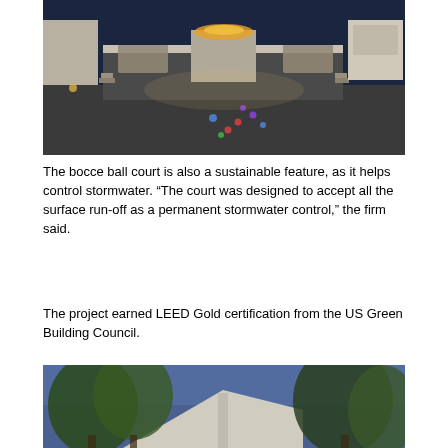[Figure (photo): Nighttime photo of a bocce ball court with bocce balls scattered on gravel surface, elevated patio with fire feature, outdoor sofas, and lit outdoor kitchen in background]
The bocce ball court is also a sustainable feature, as it helps control stormwater. “The court was designed to accept all the surface run-off as a permanent stormwater control,” the firm said.
The project earned LEED Gold certification from the US Green Building Council.
[Figure (photo): Nighttime photo looking up through trees at a house roofline against a blue evening sky]